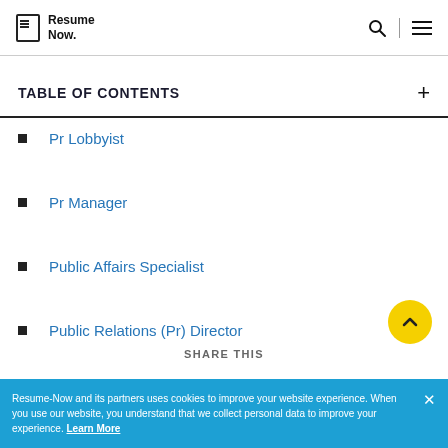Resume Now.
TABLE OF CONTENTS
Pr Lobbyist
Pr Manager
Public Affairs Specialist
Public Relations (Pr) Director
SHARE THIS
Resume-Now and its partners uses cookies to improve your website experience. When you use our website, you understand that we collect personal data to improve your experience. Learn More